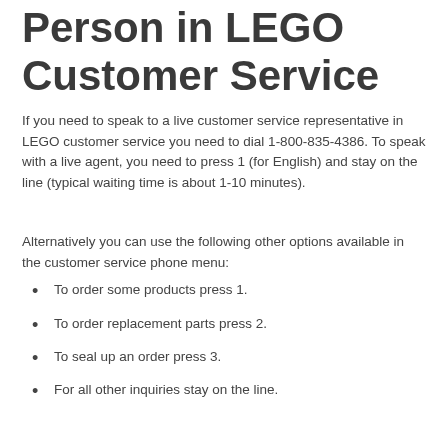Person in LEGO Customer Service
If you need to speak to a live customer service representative in LEGO customer service you need to dial 1-800-835-4386. To speak with a live agent, you need to press 1 (for English) and stay on the line (typical waiting time is about 1-10 minutes).
Alternatively you can use the following other options available in the customer service phone menu:
To order some products press 1.
To order replacement parts press 2.
To seal up an order press 3.
For all other inquiries stay on the line.